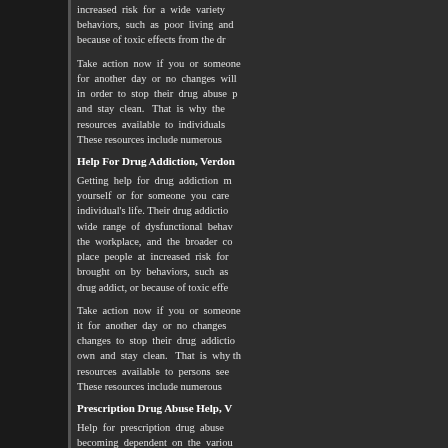increased risk for a wide variety of behaviors, such as poor living and because of toxic effects from the dr
Take action now if you or someone for another day or no changes will in order to stop their drug abuse p and stay clean. That is why the resources available to individuals These resources include numerous
Help For Drug Addiction, Verdon
Getting help for drug addiction m yourself or for someone you care individual's life. Their drug addictio wide range of dysfunctional behav the workplace, and the broader co place people at increased risk for brought on by behaviors, such as drug addict, or because of toxic effe
Take action now if you or someone it for another day or no changes changes to stop their drug addictio own and stay clean. That is why th resources available to persons see These resources include numerous
Prescription Drug Abuse Help, V
Help for prescription drug abuse becoming dependent on the variou shown that abuse of any drug, illic is no one form of prescription drug help for prescription drug abuse, c needs of the individual.